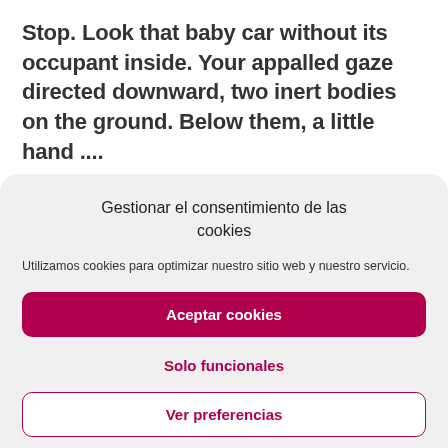Stop. Look that baby car without its occupant inside. Your appalled gaze directed downward, two inert bodies on the ground. Below them, a little hand ....
In this unfortunate time of severe human crisis, let
Gestionar el consentimiento de las cookies
Utilizamos cookies para optimizar nuestro sitio web y nuestro servicio.
Aceptar cookies
Solo funcionales
Ver preferencias